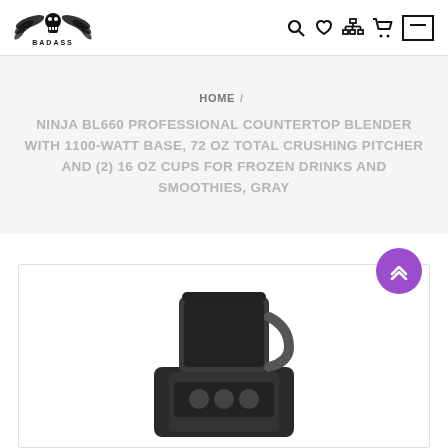BADASS store logo and navigation icons (search, wishlist, sitemap, cart, menu)
HOME /
NINJA BL660 PROFESSIONAL COUNTERTOP BLENDER WITH 1100-WATT BASE, 72 OZ TOTAL CRUSHING PITCHER AND (2) 16 OZ CUPS FOR FROZEN DRINKS AND SMOOTHIES, GRAY
[Figure (photo): Ninja BL660 professional countertop blender in gray, shown at bottom of page inside a card with border]